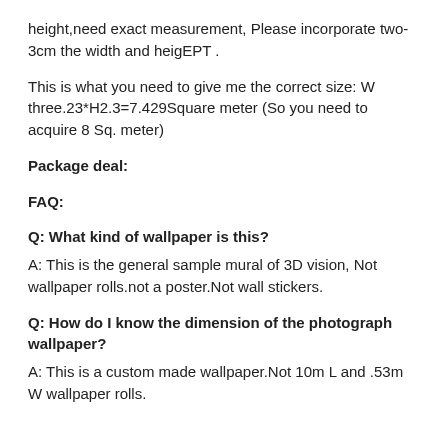height,need exact measurement, Please incorporate two-3cm the width and heigEPT .
This is what you need to give me the correct size: W three.23*H2.3=7.429Square meter (So you need to acquire 8 Sq. meter)
Package deal:
FAQ:
Q: What kind of wallpaper is this?
A: This is the general sample mural of 3D vision, Not wallpaper rolls.not a poster.Not wall stickers.
Q: How do I know the dimension of the photograph wallpaper?
A: This is a custom made wallpaper.Not 10m L and .53m W wallpaper rolls.